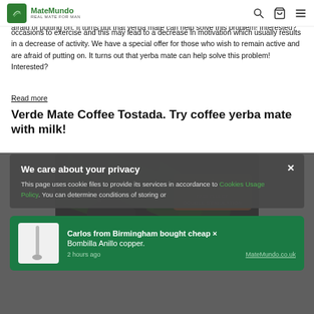MateMundo — navigation bar with logo, search, cart, and menu icons
occasions to exercise and this may lead to a decrease in motivation which usually results in a decrease of activity. We have a special offer for those who wish to remain active and are afraid of putting on. It turns out that yerba mate can help solve this problem! Interested?
Read more
Verde Mate Coffee Tostada. Try coffee yerba mate with milk!
[Figure (photo): Product photo of Verde Mate Coffee Tostada yerba mate package — dark background with green leaves, metallic bombilla straw, and an orange badge reading 'coffee PACK FULL OF DOUBLE STIMULATION']
We care about your privacy
This page uses cookie files to provide its services in accordance to Cookies Usage Policy. You can determine conditions of storing or
Carlos from Birmingham bought cheap Bombilla Anillo copper. 2 hours ago MateMundo.co.uk